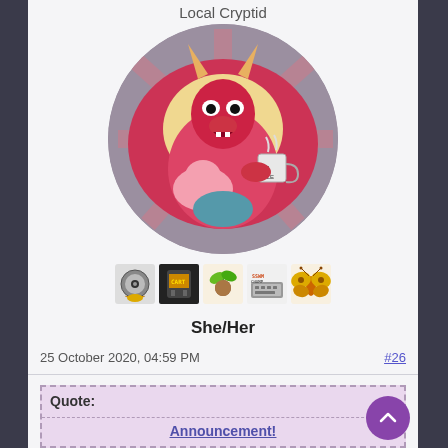Local Cryptid
[Figure (illustration): Circular avatar image of a fantasy creature character — a large pink/red monster with a mane, horns, holding a mug, with a small pink creature hugged to its chest. Colorful digital illustration.]
[Figure (infographic): Row of five pixel-art badge icons: a CD/vinyl record, a cartridge/game pak, a green sprout, an SSWM CHAMP badge with keyboard, and a moth/butterfly.]
She/Her
25 October 2020, 04:59 PM
#26
Quote:
Announcement!